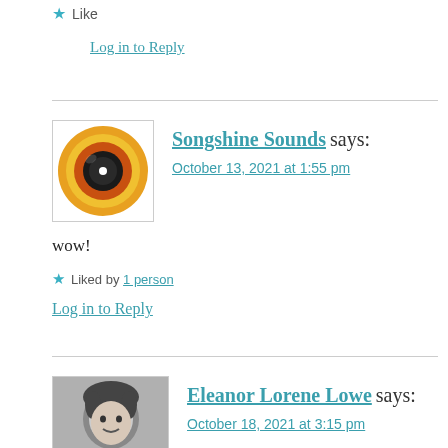★ Like
Log in to Reply
Songshine Sounds says:
October 13, 2021 at 1:55 pm
wow!
★ Liked by 1 person
Log in to Reply
Eleanor Lorene Lowe says:
October 18, 2021 at 3:15 pm